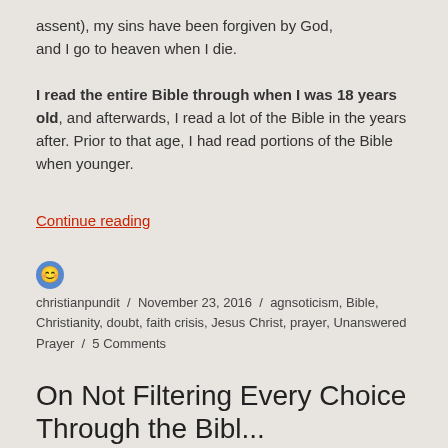assent), my sins have been forgiven by God, and I go to heaven when I die.
I read the entire Bible through when I was 18 years old, and afterwards, I read a lot of the Bible in the years after. Prior to that age, I had read portions of the Bible when younger.
Continue reading
christianpundit / November 23, 2016 / agnsoticism, Bible, Christianity, doubt, faith crisis, Jesus Christ, prayer, Unanswered Prayer / 5 Comments
On Not Filtering Every Choice Through the Bibl...